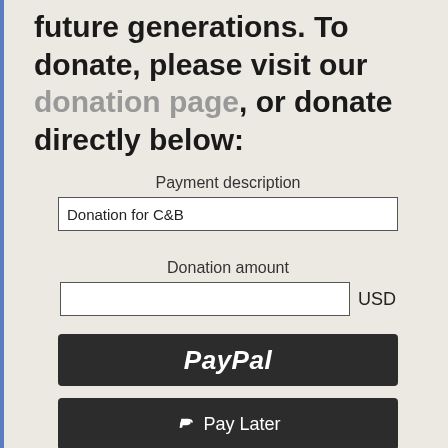future generations. To donate, please visit our donation page, or donate directly below:
Payment description
Donation for C&B
Donation amount
USD
[Figure (screenshot): PayPal button - dark/black rounded button with white italic PayPal text]
[Figure (screenshot): Pay Later button - dark/black rounded button with PayPal P icon and white Pay Later text]